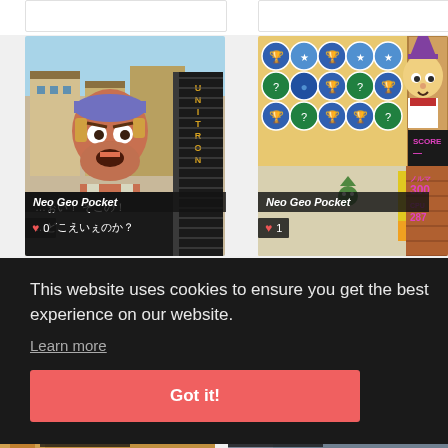[Figure (screenshot): Left game card showing a Neo Geo Pocket fighting game with a bearded character in bandana, Japanese text subtitle, with Neo Geo Pocket label and like count 0]
[Figure (screenshot): Right game card showing a Neo Geo Pocket puzzle/bubble game with colorful icons and a small character, with Neo Geo Pocket label and like count 1]
This website uses cookies to ensure you get the best experience on our website.
Learn more
Got it!
[Figure (screenshot): Bottom left partial Neo Geo Pocket game card thumbnail]
[Figure (screenshot): Bottom right partial Neo Geo Pocket game card thumbnail]